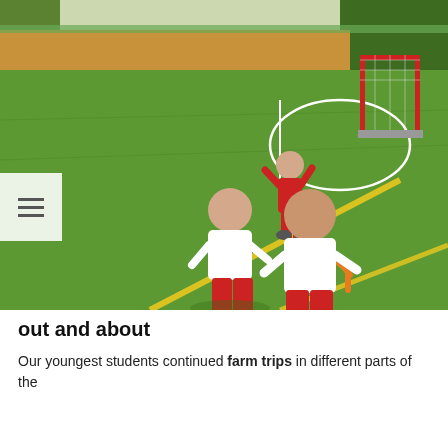[Figure (photo): Three young children on a green artificial turf sports field. Two children in the foreground wear white t-shirts and red shorts, with one jumping over a small orange hurdle wearing blue shoes. A third child in the background wears a red outfit and carries equipment. A red goal post is visible in the background.]
out and about
Our youngest students continued farm trips in different parts of the